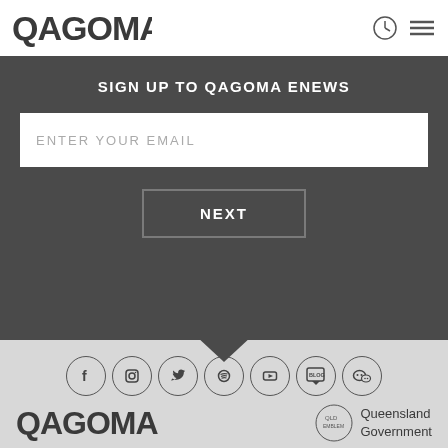QAGOMA
SIGN UP TO QAGOMA ENEWS
ENTER YOUR EMAIL
NEXT
[Figure (infographic): Social media icons in circles: Facebook, Instagram, Twitter, Spotify, YouTube, Blog, WeChat]
[Figure (logo): QAGOMA logo and Queensland Government logo at bottom of page]